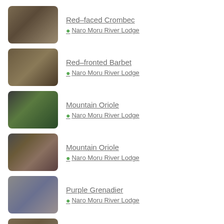Red-faced Crombec
Naro Moru River Lodge
Red-fronted Barbet
Naro Moru River Lodge
Mountain Oriole
Naro Moru River Lodge
Mountain Oriole
Naro Moru River Lodge
Purple Grenadier
Naro Moru River Lodge
Spotted Palm Thrush
Buffalo Springs National Reserve
Red-fronted Prinia
Shaba National Reserve